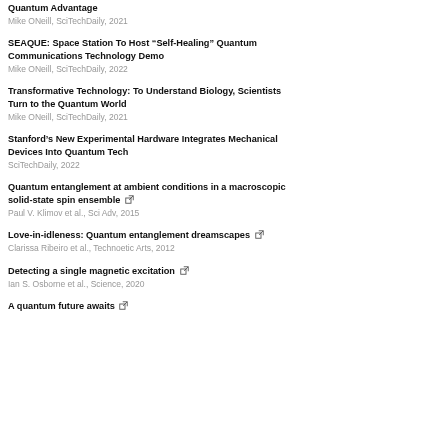Quantum Advantage
Mike ONeill, SciTechDaily, 2021
SEAQUE: Space Station To Host “Self-Healing” Quantum Communications Technology Demo
Mike ONeill, SciTechDaily, 2022
Transformative Technology: To Understand Biology, Scientists Turn to the Quantum World
Mike ONeill, SciTechDaily, 2021
Stanford’s New Experimental Hardware Integrates Mechanical Devices Into Quantum Tech
SciTechDaily, 2022
Quantum entanglement at ambient conditions in a macroscopic solid-state spin ensemble
Paul V. Klimov et al., Sci Adv, 2015
Love-in-idleness: Quantum entanglement dreamscapes
Clarissa Ribeiro et al., Technoetic Arts, 2012
Detecting a single magnetic excitation
Ian S. Osborne et al., Science, 2020
A quantum future awaits